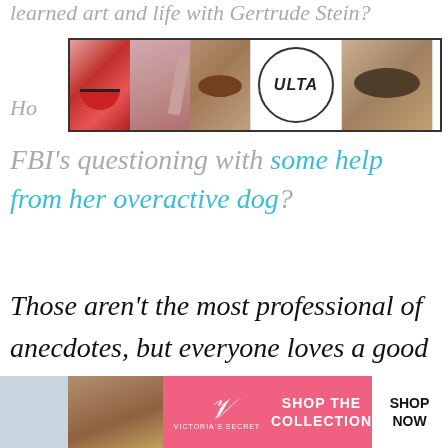learned art and life with Gertrude Stein?
[Figure (screenshot): Ulta Beauty advertisement banner with makeup photos and 'SHOP NOW' button]
Ho
FBI's questioning with some help from her overactive dog?
Those aren't the most professional of anecdotes, but everyone loves a good story, so why not share some of your own?
[Figure (screenshot): Close button overlay]
[Figure (screenshot): Victoria's Secret advertisement banner with 'SHOP THE COLLECTION' and 'SHOP NOW' button]